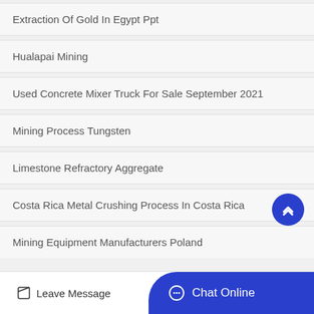Extraction Of Gold In Egypt Ppt
Hualapai Mining
Used Concrete Mixer Truck For Sale September 2021
Mining Process Tungsten
Limestone Refractory Aggregate
Costa Rica Metal Crushing Process In Costa Rica
Mining Equipment Manufacturers Poland
Leave Message   Chat Online